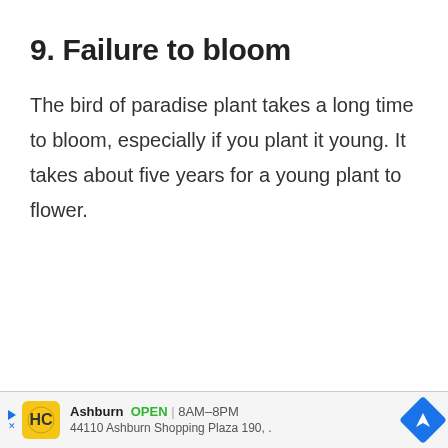9. Failure to bloom
The bird of paradise plant takes a long time to bloom, especially if you plant it young. It takes about five years for a young plant to flower.
Ashburn OPEN 8AM–8PM 44110 Ashburn Shopping Plaza 190,.